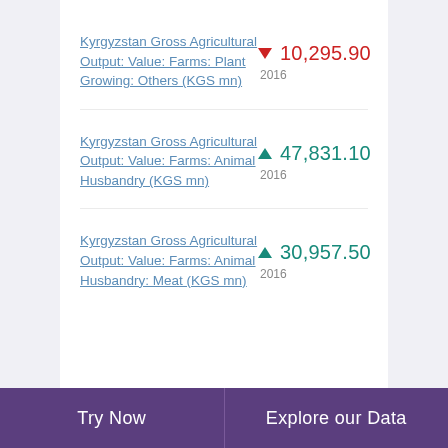Kyrgyzstan Gross Agricultural Output: Value: Farms: Plant Growing: Others (KGS mn)
Kyrgyzstan Gross Agricultural Output: Value: Farms: Animal Husbandry (KGS mn)
Kyrgyzstan Gross Agricultural Output: Value: Farms: Animal Husbandry: Meat (KGS mn)
Try Now | Explore our Data